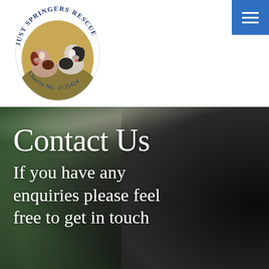[Figure (logo): Just Springers Rescue circular logo with two Springer Spaniel dogs in the center, text 'JUST SPRINGERS RESCUE' around the top arc and 'Charity No. 1135424' around the bottom arc]
[Figure (photo): Close-up photo of a black Springer Spaniel dog with a blurred green and pink bokeh background outdoors]
Contact Us
If you have any enquiries please feel free to get in touch